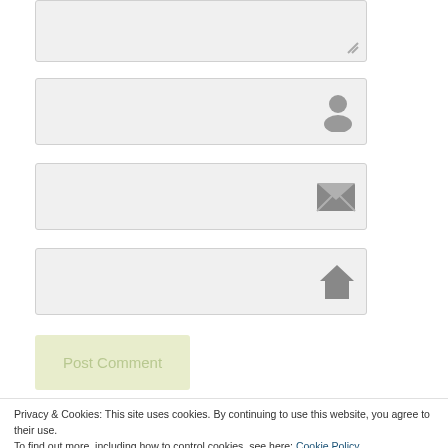[Figure (screenshot): Textarea input field with resize handle icon at bottom right]
[Figure (screenshot): Name input field with user/person icon on the right]
[Figure (screenshot): Email input field with envelope/mail icon on the right]
[Figure (screenshot): Website input field with house/home icon on the right]
[Figure (screenshot): Post Comment button with light green background and light colored text]
Privacy & Cookies: This site uses cookies. By continuing to use this website, you agree to their use.
To find out more, including how to control cookies, see here: Cookie Policy
Close and accept